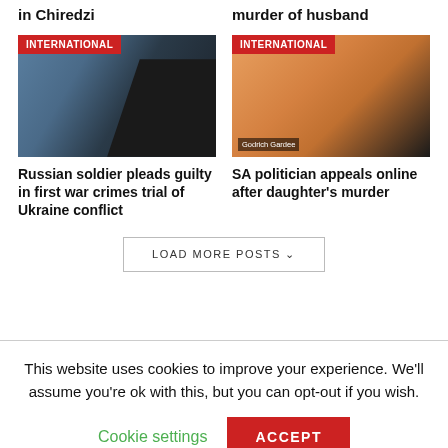in Chiredzi
murder of husband
[Figure (photo): Photo of a person in custody near a window, with a police officer's hand visible, tagged INTERNATIONAL]
[Figure (photo): Photo of Godrich Gardee speaking, with an image of a woman behind him, tagged INTERNATIONAL]
Russian soldier pleads guilty in first war crimes trial of Ukraine conflict
SA politician appeals online after daughter's murder
LOAD MORE POSTS
This website uses cookies to improve your experience. We'll assume you're ok with this, but you can opt-out if you wish.
Cookie settings
ACCEPT